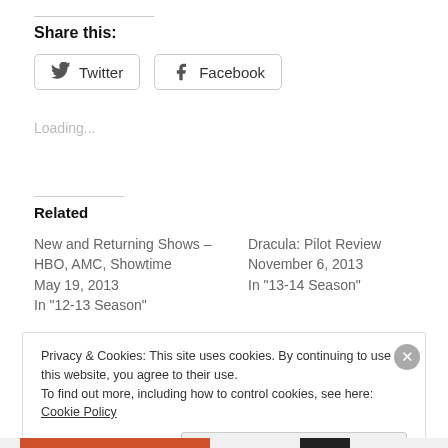Share this:
Twitter  Facebook
Loading...
Related
New and Returning Shows – HBO, AMC, Showtime
May 19, 2013
In "12-13 Season"
Dracula: Pilot Review
November 6, 2013
In "13-14 Season"
Privacy & Cookies: This site uses cookies. By continuing to use this website, you agree to their use.
To find out more, including how to control cookies, see here: Cookie Policy
Close and accept